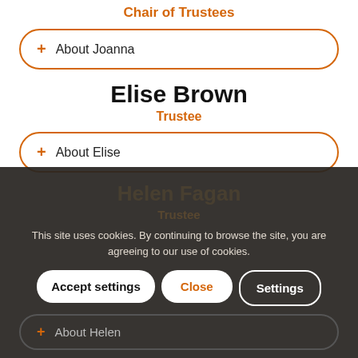Chair of Trustees
+ About Joanna
Elise Brown
Trustee
+ About Elise
Helen Fagan
Trustee
This site uses cookies. By continuing to browse the site, you are agreeing to our use of cookies.
Accept settings
Close
Settings
+ About Helen